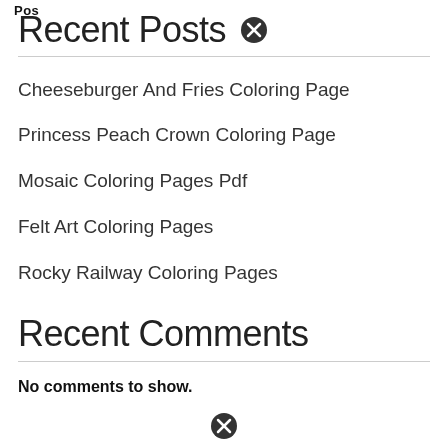Recent Posts
Cheeseburger And Fries Coloring Page
Princess Peach Crown Coloring Page
Mosaic Coloring Pages Pdf
Felt Art Coloring Pages
Rocky Railway Coloring Pages
Recent Comments
No comments to show.